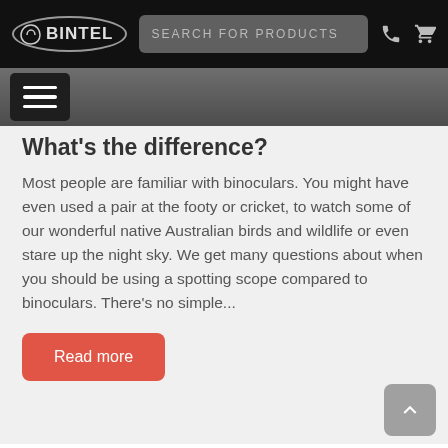BINTEL | SEARCH FOR PRODUCTS
What's the difference?
Most people are familiar with binoculars.  You might have even used a pair at the footy or cricket,  to watch  some of our wonderful native Australian birds and wildlife or even stare up the  night sky. We get many questions about when you should be using a spotting scope compared to binoculars. There's no simple...
Read more